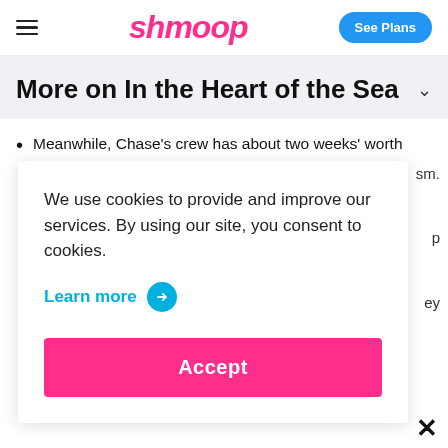shmoop — See Plans
More on In the Heart of the Sea
Meanwhile, Chase's crew has about two weeks' worth
We use cookies to provide and improve our services. By using our site, you consent to cookies.
Learn more →
Accept